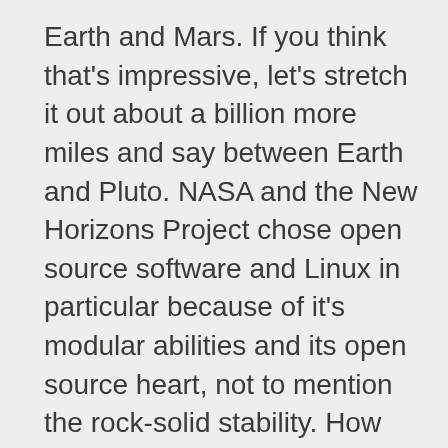Earth and Mars. If you think that's impressive, let's stretch it out about a billion more miles and say between Earth and Pluto. NASA and the New Horizons Project chose open source software and Linux in particular because of it's modular abilities and its open source heart, not to mention the rock-solid stability. How many times would NASA risk bricking a $500 million solar probe by having to reboot a Windows core system after every update?
“Please do not reboot your half billion dollar space probe until Windows completes the current updates. (currently 12 of 8179).”
So, is the much maligned “Year of the Linux Desktop” gone? Yeah, it’sbeen gone a while now, but it’s clawed its way to the top in about everyother significant area or function. To include over a billion Android(Linux-kernel)